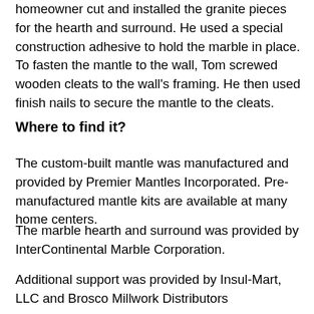homeowner cut and installed the granite pieces for the hearth and surround. He used a special construction adhesive to hold the marble in place. To fasten the mantle to the wall, Tom screwed wooden cleats to the wall's framing. He then used finish nails to secure the mantle to the cleats.
Where to find it?
The custom-built mantle was manufactured and provided by Premier Mantles Incorporated. Pre-manufactured mantle kits are available at many home centers.
The marble hearth and surround was provided by InterContinental Marble Corporation.
Additional support was provided by Insul-Mart, LLC and Brosco Millwork Distributors